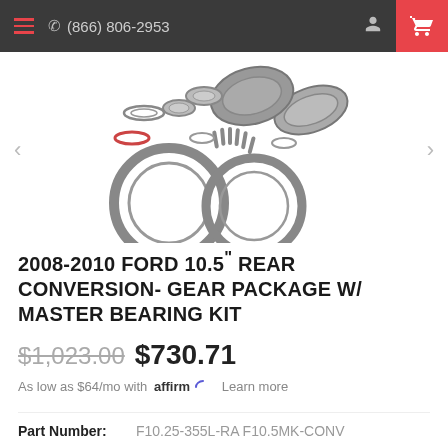(866) 806-2953
[Figure (photo): Product photo showing gear set components including ring gear, pinion gear, bearings, races, seals, and hardware for a Ford 10.5 inch rear axle conversion kit]
2008-2010 FORD 10.5" REAR CONVERSION- GEAR PACKAGE W/ MASTER BEARING KIT
$1,023.00 $730.71
As low as $64/mo with affirm. Learn more
Part Number: F10.25-355L-RA F10.5MK-CONV
Product Type: Gear & Install Package
Vendor: Rigid Axle